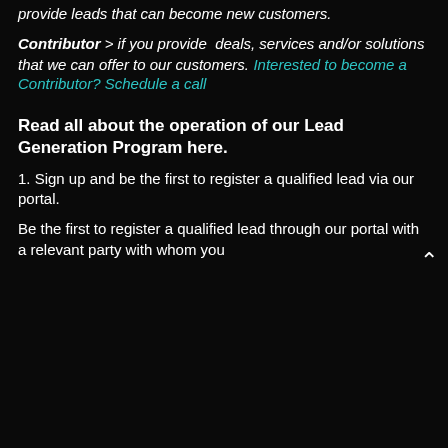provide leads that can become new customers.
Contributor > if you provide deals, services and/or solutions that we can offer to our customers. Interested to become a Contributor? Schedule a call
Read all about the operation of our Lead Generation Program here.
1. Sign up and be the first to register a qualified lead via our portal.
Be the first to register a qualified lead through our portal with a relevant party with whom you